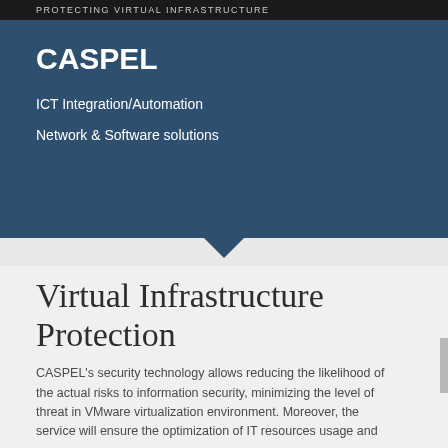PROTECTING VIRTUAL INFRASTRUCTURE
CASPEL
ICT Integration/Automation
Network & Software solutions
Virtual Infrastructure Protection
CASPEL's security technology allows reducing the likelihood of the actual risks to information security, minimizing the level of threat in VMware virtualization environment. Moreover, the service will ensure the optimization of IT resources usage and